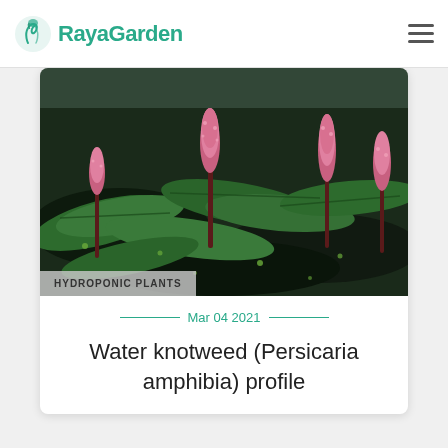RayaGarden
[Figure (photo): Water knotweed (Persicaria amphibia) plant growing in water with pink flower spikes and large green leaves]
HYDROPONIC PLANTS
Mar 04 2021
Water knotweed (Persicaria amphibia) profile